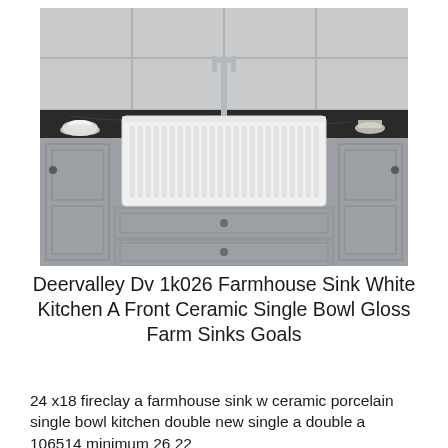[Figure (photo): A white farmhouse apron-front sink with vertical fluted ridges on the front panel, set into a kitchen counter with dark marble/granite countertop, gray shaker-style cabinets with round knobs, and a chrome faucet. A teacup and saucer are visible on the left side of the counter.]
Deervalley Dv 1k026 Farmhouse Sink White Kitchen A Front Ceramic Single Bowl Gloss Farm Sinks Goals
24 x18 fireclay a farmhouse sink w ceramic porcelain single bowl kitchen double new single a double a 106514 minimum 26 22